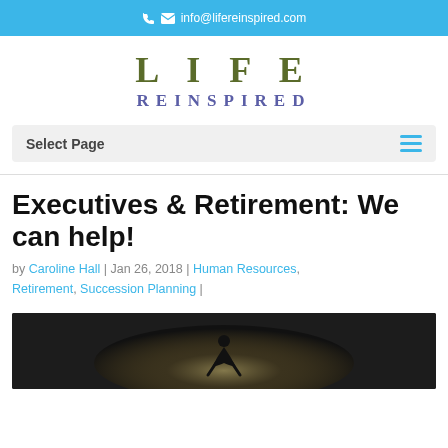info@lifereinspired.com
[Figure (logo): Life Reinspired logo — LIFE in large olive serif letters, REINSPIRED in medium slate-blue serif letters below]
Select Page
Executives & Retirement: We can help!
by Caroline Hall | Jan 26, 2018 | Human Resources, Retirement, Succession Planning |
[Figure (photo): Dark silhouette of a person crouching or kneeling against a bright sky/horizon background]